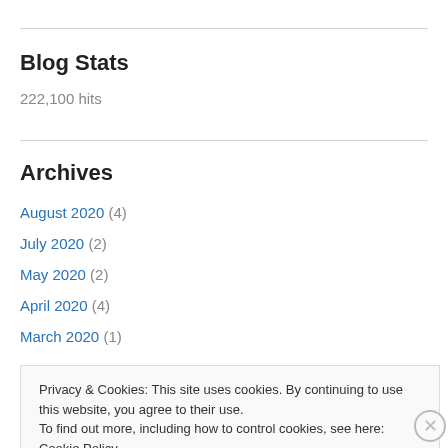Blog Stats
222,100 hits
Archives
August 2020 (4)
July 2020 (2)
May 2020 (2)
April 2020 (4)
March 2020 (1)
Privacy & Cookies: This site uses cookies. By continuing to use this website, you agree to their use.
To find out more, including how to control cookies, see here: Cookie Policy